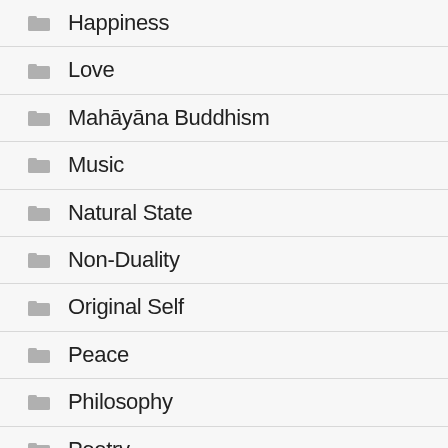Happiness
Love
Mahāyāna Buddhism
Music
Natural State
Non-Duality
Original Self
Peace
Philosophy
Poetry